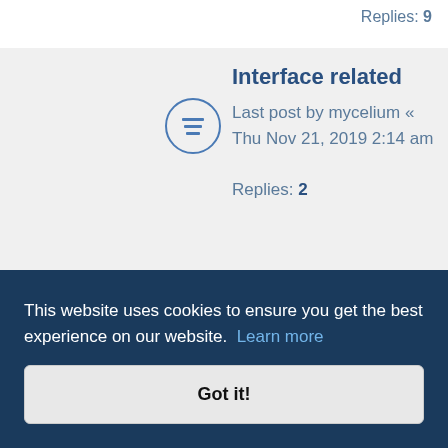Replies: 9
Interface related
Last post by mycelium « Thu Nov 21, 2019 2:14 am
Replies: 2
Forum Spam
Last post by flembobs « Wed Apr 03, 2019 10:42
ical y? ritain 2019 3:35 pm
This website uses cookies to ensure you get the best experience on our website. Learn more
Got it!